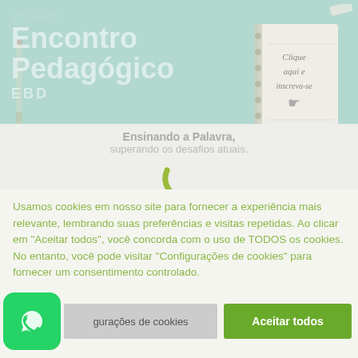[Figure (screenshot): Banner for 3º EPED Encontro Pedagógico EBD event with teal/mint background, notebook graphic on right with 'Clique aqui e inscreva-se' text, pencil illustration on left, subtitle 'Ensinando a Palavra, superando os desafios atuais.' and a green loading spinner]
Usamos cookies em nosso site para fornecer a experiência mais relevante, lembrando suas preferências e visitas repetidas. Ao clicar em "Aceitar todos", você concorda com o uso de TODOS os cookies. No entanto, você pode visitar "Configurações de cookies" para fornecer um consentimento controlado.
gurações de cookies
Aceitar todos